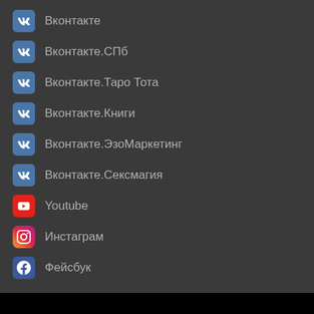Вконтакте
Вконтакте.СПб
Вконтакте.Таро Тота
Вконтакте.Книги
Вконтакте.ЭзоМаркетинг
Вконтакте.Сексмагия
Youtube
Инстаграм
Фейсбук
Используя сайт Thelema.ru, вы соглашаетесь с использованием файлов cookie и сервисов сбора технических данных. Подробнее.
Принять
РАЗДЕЛЫ САЙТА